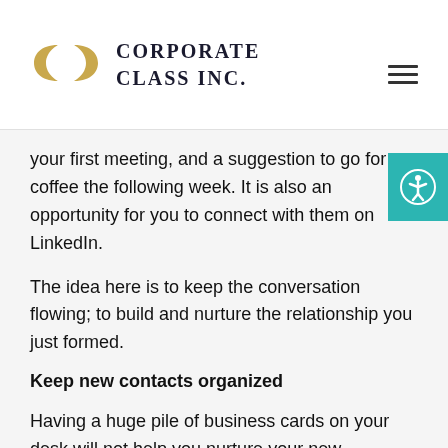CORPORATE CLASS INC.
your first meeting, and a suggestion to go for coffee the following week. It is also an opportunity for you to connect with them on LinkedIn.
The idea here is to keep the conversation flowing; to build and nurture the relationship you just formed.
Keep new contacts organized
Having a huge pile of business cards on your desk will not help you nurture your new contacts. As soon as you receive a new card, import the information onto your computer or phone. This will also make it easier to send